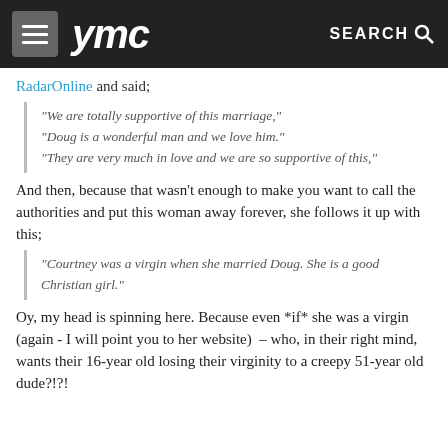ymc  SEARCH
RadarOnline and said;
"We are totally supportive of this marriage," "Doug is a wonderful man and we love him." "They are very much in love and we are so supportive of this,"
And then, because that wasn't enough to make you want to call the authorities and put this woman away forever, she follows it up with this;
"Courtney was a virgin when she married Doug. She is a good Christian girl."
Oy, my head is spinning here. Because even *if* she was a virgin (again - I will point you to her website)  – who, in their right mind, wants their 16-year old losing their virginity to a creepy 51-year old dude?!?!